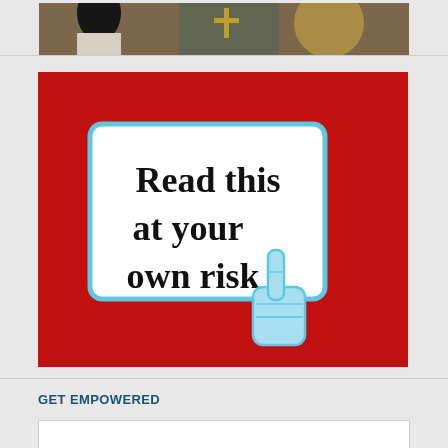[Figure (photo): Partial cropped image of people at top of page, showing figures with dark hair and gold/bronze background elements]
[Figure (illustration): Red background image with a white rounded rectangle containing bold black text 'Read this at your own risk' and a light blue hand cursor/pointer icon clicking on the white box]
GET EMPOWERED